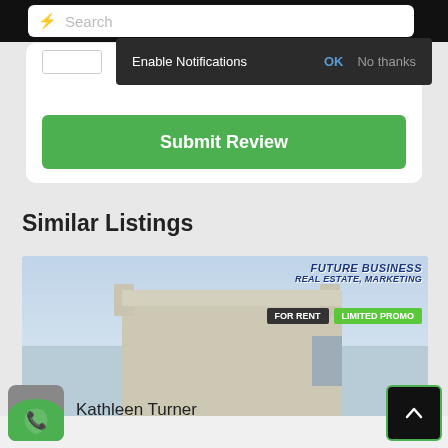[Figure (screenshot): Mobile browser UI with search bar and notification popup saying 'Enable Notifications' with OK and No thanks buttons]
Enable Notifications
OK
No thanks
Submit Review
Similar Listings
[Figure (photo): Real estate listing photo showing a commercial building with signage 'FUTURE BUSINESS REAL ESTATE, MARKETING', with FOR RENT and LIMITED PROMO tags]
FUTURE BUSINESS
REAL ESTATE, MARKETING
FOR RENT
LIMITED PROMO
Kathleen Turner